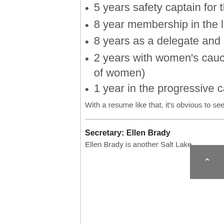5 years safety captain for the Union Pacific railroad,
8 year membership in the labor caucus,
8 years as a delegate and precinct captain,
2 years with women's caucus, (because I love and believe in the strength of women)
1 year in the progressive caucus.
With a resume like that, it's obvious to see why this very-approachable candidate was selected.
Secretary: Ellen Brady
Ellen Brady is another Salt Lake